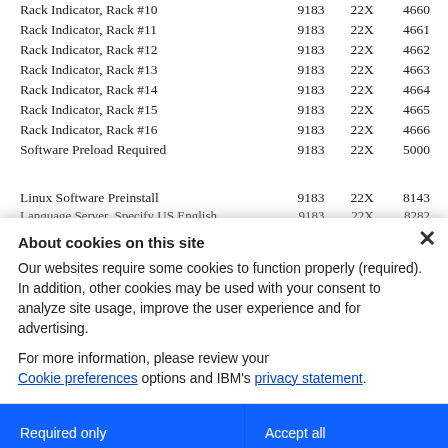| Description | Model | Attr | Code |
| --- | --- | --- | --- |
| Rack Indicator, Rack #10 | 9183 | 22X | 4660 |
| Rack Indicator, Rack #11 | 9183 | 22X | 4661 |
| Rack Indicator, Rack #12 | 9183 | 22X | 4662 |
| Rack Indicator, Rack #13 | 9183 | 22X | 4663 |
| Rack Indicator, Rack #14 | 9183 | 22X | 4664 |
| Rack Indicator, Rack #15 | 9183 | 22X | 4665 |
| Rack Indicator, Rack #16 | 9183 | 22X | 4666 |
| Software Preload Required | 9183 | 22X | 5000 |
| Linux Software Preinstall | 9183 | 22X | 8143 |
About cookies on this site
Our websites require some cookies to function properly (required). In addition, other cookies may be used with your consent to analyze site usage, improve the user experience and for advertising.
For more information, please review your Cookie preferences options and IBM's privacy statement.
Required only
Accept all